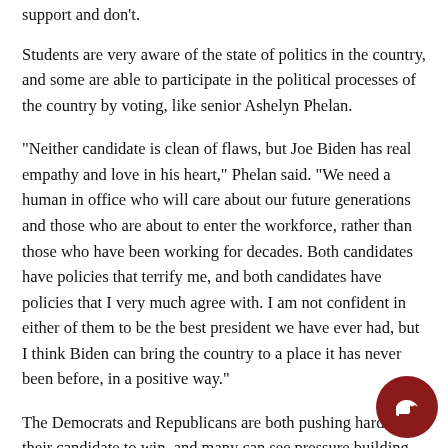support and don't.
Students are very aware of the state of politics in the country, and some are able to participate in the political processes of the country by voting, like senior Ashelyn Phelan.
“Neither candidate is clean of flaws, but Joe Biden has real empathy and love in his heart,” Phelan said. “We need a human in office who will care about our future generations and those who are about to enter the workforce, rather than those who have been working for decades. Both candidates have policies that terrify me, and both candidates have policies that I very much agree with. I am not confident in either of them to be the best president we have ever had, but I think Biden can bring the country to a place it has never been before, in a positive way.”
The Democrats and Republicans are both pushing hard for their candidate to win, and many can see pressure building as the election day draws near. But opinions on the effects of election vary.
“It has been one of the most chaotic elections I have ever seen or heard of,” junior Matthew Latimer said. “I feel like both candidates bring opportunity to the table; they make me feel like this country is going...